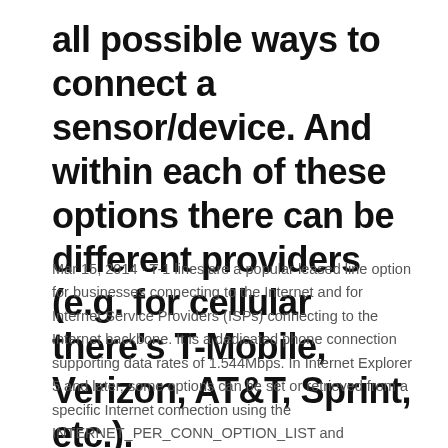all possible ways to connect a sensor/device. And within each of these options there can be different providers (e.g. for cellular there's T-Mobile, Verizon, AT&T, Sprint, etc.).
Mar 15, 2014 · T-1 lines are a popular leased line option for businesses connecting to the Internet and for Internet Service Providers (ISPs) connecting to the Internet backbone. It is a dedicated phone connection supporting data rates of 1.544Mbps. In Internet Explorer 5 and later, some options can be set or retrieved from a specific Internet connection using the INTERNET_PER_CONN_OPTION_LIST and INTERNET_PER_CONN_OPTION structures. For more information and a list of options that can be set or retrieved from a specific Internet connection, see the dwOptions